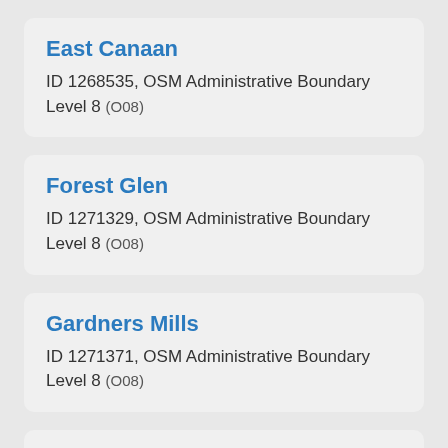East Canaan
ID 1268535, OSM Administrative Boundary Level 8 (O08)
Forest Glen
ID 1271329, OSM Administrative Boundary Level 8 (O08)
Gardners Mills
ID 1271371, OSM Administrative Boundary Level 8 (O08)